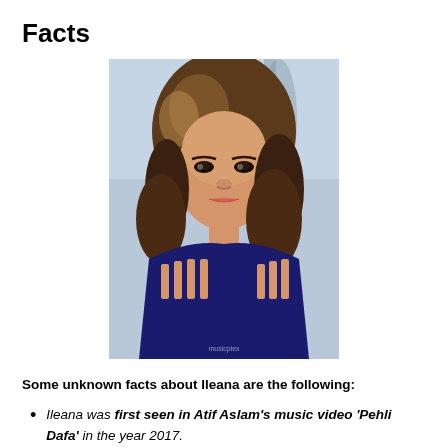Facts
[Figure (photo): Portrait photo of Ileana D'Cruz, a young woman with long wavy brown hair with highlights, wearing a navy blue cut-out top, looking to the side with a blurred outdoor background.]
Some unknown facts about Ileana are the following:
Ileana was first seen in Atif Aslam's music video 'Pehli Dafa' in the year 2017.